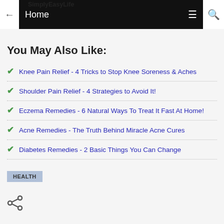SimplyEasyLife  ←  Home  ≡  🔍
You May Also Like:
Knee Pain Relief - 4 Tricks to Stop Knee Soreness & Aches
Shoulder Pain Relief - 4 Strategies to Avoid It!
Eczema Remedies - 6 Natural Ways To Treat It Fast At Home!
Acne Remedies - The Truth Behind Miracle Acne Cures
Diabetes Remedies - 2 Basic Things You Can Change
HEALTH